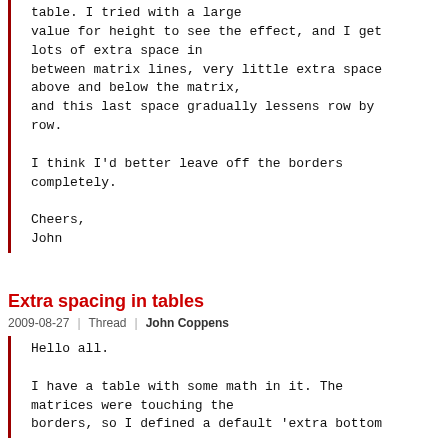table. I tried with a large
value for height to see the effect, and I get
lots of extra space in
between matrix lines, very little extra space
above and below the matrix,
and this last space gradually lessens row by
row.

I think I'd better leave off the borders
completely.

Cheers,
John
Extra spacing in tables
2009-08-27 | Thread | John Coppens
Hello all.

I have a table with some math in it. The
matrices were touching the
borders, so I defined a default 'extra bottom